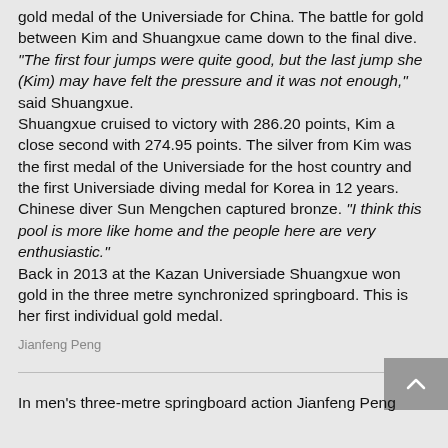gold medal of the Universiade for China. The battle for gold between Kim and Shuangxue came down to the final dive. "The first four jumps were quite good, but the last jump she (Kim) may have felt the pressure and it was not enough," said Shuangxue.
Shuangxue cruised to victory with 286.20 points, Kim a close second with 274.95 points. The silver from Kim was the first medal of the Universiade for the host country and the first Universiade diving medal for Korea in 12 years.
Chinese diver Sun Mengchen captured bronze. "I think this pool is more like home and the people here are very enthusiastic."
Back in 2013 at the Kazan Universiade Shuangxue won gold in the three metre synchronized springboard. This is her first individual gold medal.
Jianfeng Peng
In men's three-metre springboard action Jianfeng Peng